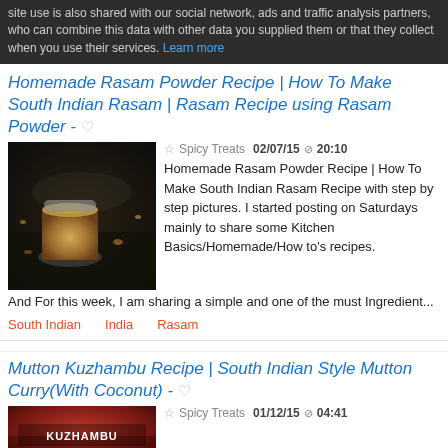site use is also shared with our social network, ads and traffic analysis partners, who can combine this data with other data you supplied them or that they collect when you use their services. Learn more
Homemade Rasam Powder Recipe | How To Make South Indian Rasam | Rasam Recipe using Rasam Powder - ♡
[Figure (photo): A glass jar filled with rasam powder (yellow-tan spice mix) on a dark background with scattered spices]
☆ Spicy Treats  02/07/15 ⊙ 20:10
Homemade Rasam Powder Recipe | How To Make South Indian Rasam Recipe with step by step pictures. I started posting on Saturdays mainly to share some Kitchen Basics/Homemade/How to's recipes. And For this week, I am sharing a simple and one of the must Ingredient...
South Indian
India
Rasam
Mutton Kuzhambu Recipe | South Indian Style Mutton Curry(With Coconut) - ♡
[Figure (photo): Red curry dish, Kuzhambu, with text overlay showing KUZHAMBU]
☆ Spicy Treats  01/12/15 ⊙ 04:41